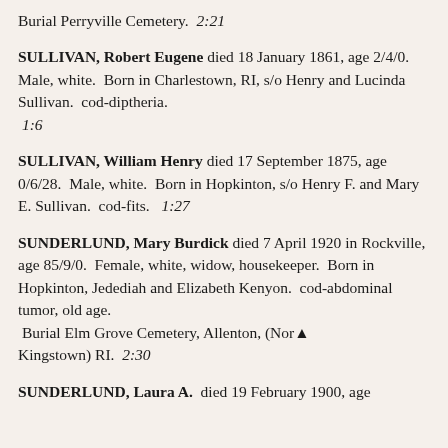Burial Perryville Cemetery.  2:21
SULLIVAN, Robert Eugene died 18 January 1861, age 2/4/0.  Male, white.  Born in Charlestown, RI, s/o Henry and Lucinda Sullivan.  cod-diptheria.  1:6
SULLIVAN, William Henry died 17 September 1875, age 0/6/28.  Male, white.  Born in Hopkinton, s/o Henry F. and Mary E. Sullivan.  cod-fits.  1:27
SUNDERLUND, Mary Burdick died 7 April 1920 in Rockville, age 85/9/0.  Female, white, widow, housekeeper.  Born in Hopkinton, Jedediah and Elizabeth Kenyon.  cod-abdominal tumor, old age.  Burial Elm Grove Cemetery, Allenton, (North Kingstown) RI.  2:30
SUNDERLUND, Laura A.  died 19 February 1900, age